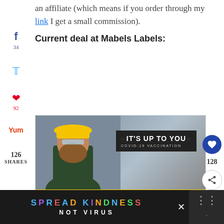an affiliate (which means if you order through my link I get a small commission).
Current deal at Mabels Labels:
[Figure (infographic): COVID-19 vaccination advertisement showing a construction worker in yellow hard hat with text 'IT'S UP TO YOU COVID-19 VACCINATION'. Below in yellow: 'Why should I get vaccinated? Getting immunized against COVID-19 will protect most people from getting sick or becoming seriously ill.' with GetVaccineAnswers.org link.]
[Figure (infographic): Black banner at bottom reading 'SPREAD KINDNESS NOT VIRUS' in colorful letters]